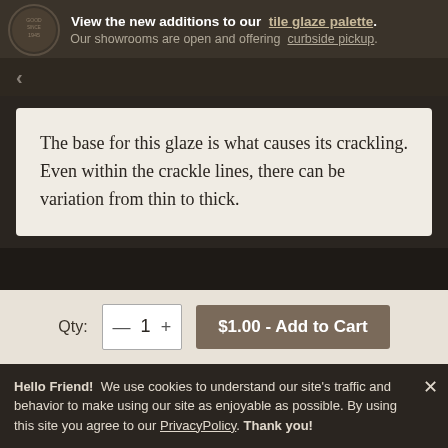View the new additions to our tile glaze palette. Our showrooms are open and offering curbside pickup.
The base for this glaze is what causes its crackling. Even within the crackle lines, there can be variation from thin to thick.
Qty:  —  1  +  $1.00 - Add to Cart
Hello Friend!  We use cookies to understand our site's traffic and behavior to make using our site as enjoyable as possible. By using this site you agree to our PrivacyPolicy.  Thank you!